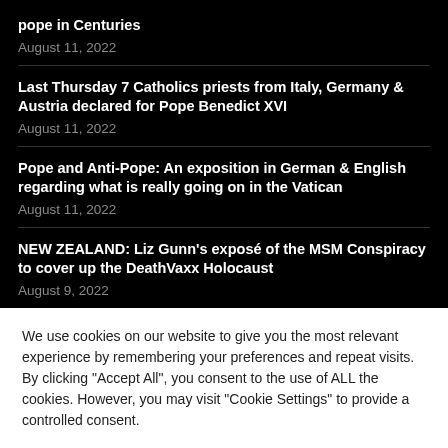pope in Centuries
August 11, 2022
Last Thursday 7 Catholics priests from Italy, Germany & Austria declared for Pope Benedict XVI
August 11, 2022
Pope and Anti-Pope: An exposition in German & English regarding what is really going on in the Vatican
August 11, 2022
NEW ZEALAND: Liz Gunn's exposé of the MSM Conspiracy to cover up the DeathVaxx Holocaust
August 9, 2022
We use cookies on our website to give you the most relevant experience by remembering your preferences and repeat visits. By clicking "Accept All", you consent to the use of ALL the cookies. However, you may visit "Cookie Settings" to provide a controlled consent.